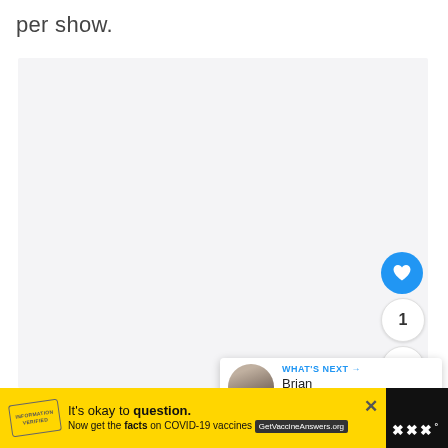per show.
[Figure (other): Large light gray content placeholder box]
[Figure (other): Blue circular like/heart button with heart icon, count bubble showing '1', and white circular share button with share icon]
[Figure (other): What's Next panel showing a profile photo thumbnail and text 'Brian McKnight N...' with a blue arrow label 'WHAT'S NEXT']
[Figure (other): Yellow advertisement bar at bottom: 'It's okay to question. Now get the facts on COVID-19 vaccines GetVaccineAnswers.org' with a stamp graphic and close button, and a white logo on black background on the right]